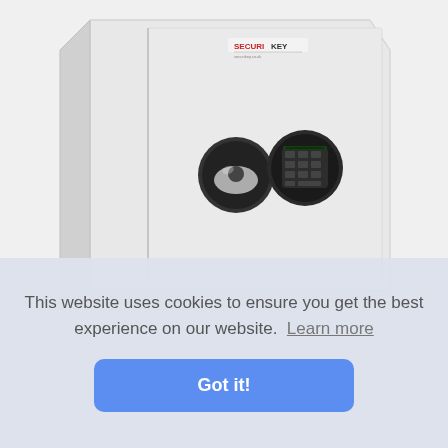[Figure (photo): A light grey Securikey security safe with electronic keypad and key lock on the front door, photographed against a white background.]
This website uses cookies to ensure you get the best experience on our website. Learn more
Got it!